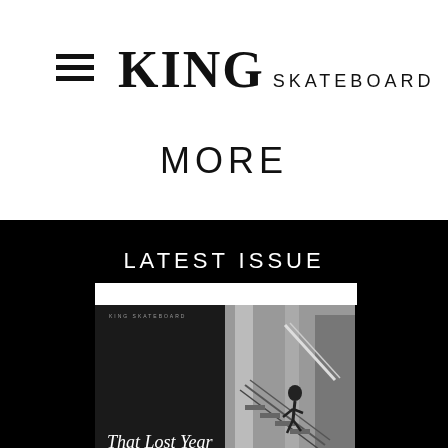KING SKATEBOARD
MORE
LATEST ISSUE
[Figure (photo): Magazine cover showing 'That Lost Year' with a split cover design: left side dark background with italic script title text, right side black-and-white photo of a skater on stairs/rails in an urban setting]